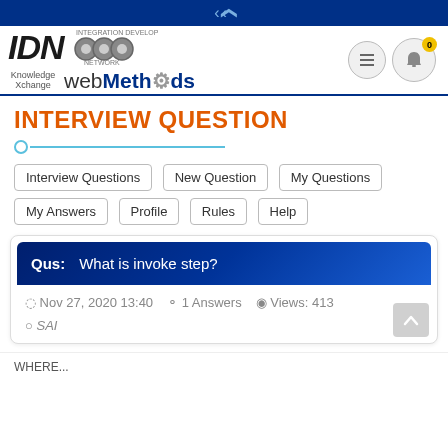IDN webMethods Knowledge Xchange — Navigation bar
INTERVIEW QUESTION
Interview Questions
New Question
My Questions
My Answers
Profile
Rules
Help
Qus: What is invoke step?
Nov 27, 2020 13:40   1 Answers   Views: 413
SAI
WHERE...